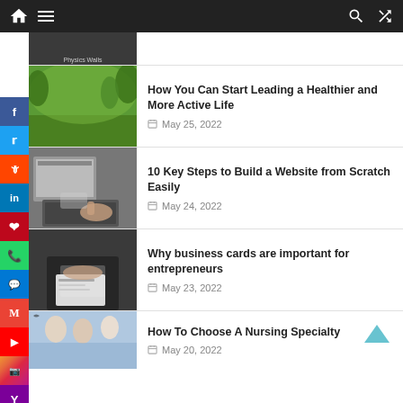Navigation bar with home, menu, search, shuffle icons
[Figure (screenshot): Partial article thumbnail at top, dark image with 'Physics Walls' watermark]
[Figure (photo): Family running outdoors in park]
How You Can Start Leading a Healthier and More Active Life
May 25, 2022
[Figure (photo): Hands using laptop and calculator on desk]
10 Key Steps to Build a Website from Scratch Easily
May 24, 2022
[Figure (photo): Person handing business cards]
Why business cards are important for entrepreneurs
May 23, 2022
[Figure (photo): Medical/nursing students in classroom setting]
How To Choose A Nursing Specialty
May 20, 2022